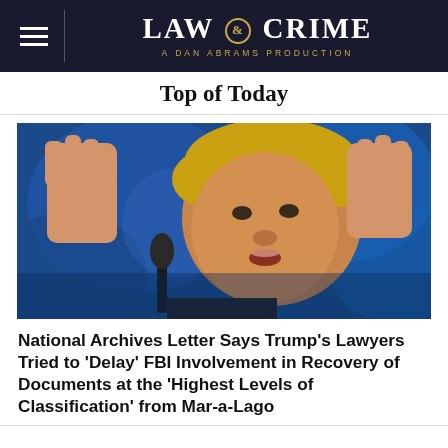LAW & CRIME — A DAN ABRAMS PRODUCTION
Top of Today
[Figure (photo): Close-up photo of Donald Trump speaking at a podium with microphone, hands raised, blue blurred background]
National Archives Letter Says Trump's Lawyers Tried to 'Delay' FBI Involvement in Recovery of Documents at the 'Highest Levels of Classification' from Mar-a-Lago